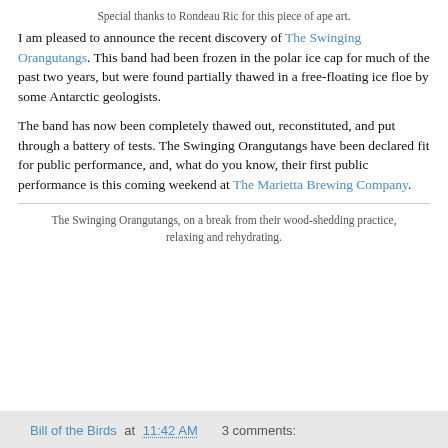Special thanks to Rondeau Ric for this piece of ape art.
I am pleased to announce the recent discovery of The Swinging Orangutangs. This band had been frozen in the polar ice cap for much of the past two years, but were found partially thawed in a free-floating ice floe by some Antarctic geologists.
The band has now been completely thawed out, reconstituted, and put through a battery of tests. The Swinging Orangutangs have been declared fit for public performance, and, what do you know, their first public performance is this coming weekend at The Marietta Brewing Company.
The Swinging Orangutangs, on a break from their wood-shedding practice, relaxing and rehydrating.
Bill of the Birds at 11:42 AM  3 comments: